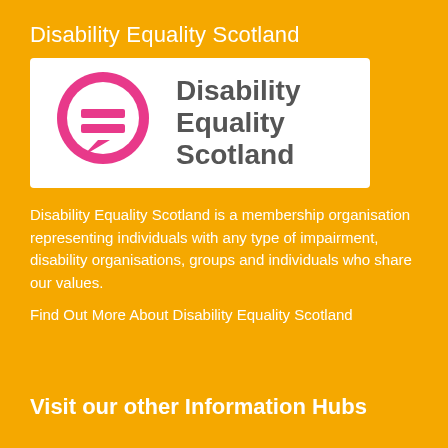Disability Equality Scotland
[Figure (logo): Disability Equality Scotland logo: pink speech bubble with equality sign, text 'Disability Equality Scotland' in dark grey on white background]
Disability Equality Scotland is a membership organisation representing individuals with any type of impairment, disability organisations, groups and individuals who share our values.
Find Out More About Disability Equality Scotland
Visit our other Information Hubs
Access Panel Network